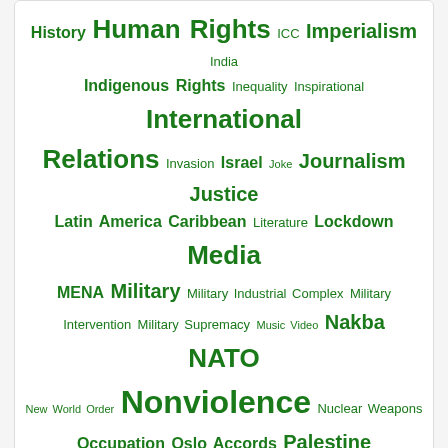[Figure (infographic): Tag cloud with political/social topics in various font sizes, all in green color. Topics include History, Human Rights, ICC, Imperialism, India, Indigenous Rights, Inequality, Inspirational, International Relations, Invasion, Israel, Joke, Journalism, Justice, Latin America Caribbean, Literature, Lockdown, Media, MENA, Military, Military Industrial Complex, Military Intervention, Military Supremacy, Music Video, Nakba, NATO, New World Order, Nonviolence, Nuclear Weapons, Occupation, Oslo Accords, Palestine, Palestine/Israel, Pandemic, PCR Tests, Peace, Pentagon, Poetry, Politics, Power, Predatory Capitalism, Profits, Public Health, Racism, Religion, Research, Russia, Sanctions, Science, Science and Medicine, Settlers, Social justice, Solutions, State Terrorism, Structural violence, Super rich, Surveillance, Sweden, Terrorism, Torture, Trump, UK, Ukraine, UN, United Nations, USA, US Military, Vaccines, Violence, Violent conflict, War, Warfare, War on Terror, West, West Bank, Whistleblowing, WHO, WikiLeaks, World, Zionism]